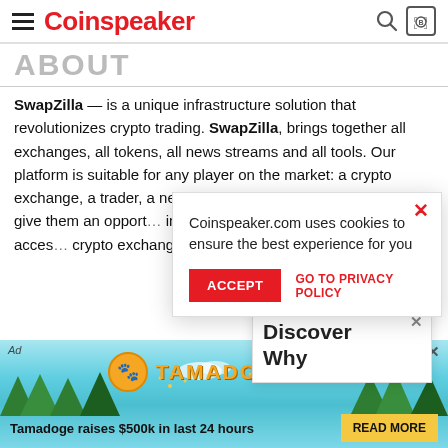Coinspeaker
ABOUT
SwapZilla — is a unique infrastructure solution that revolutionizes crypto trading. SwapZilla, brings together all exchanges, all tokens, all news streams and all tools. Our platform is suitable for any player on the market: a crypto exchange, a trader, a news channel or a company that d… give them an opport… information and da… get convenient acces… crypto exchanges wi… additional sources o…
[Figure (screenshot): Cookie consent banner overlay with 'Coinspeaker.com uses cookies to ensure the best experience for you', ACCEPT button, and GO TO PRIVACY POLICY link]
[Figure (screenshot): Discover Why popup snippet]
[Figure (screenshot): Tamadoge advertisement banner: 'Tamadoge raises $500k in last 24 hours' with READ MORE button]